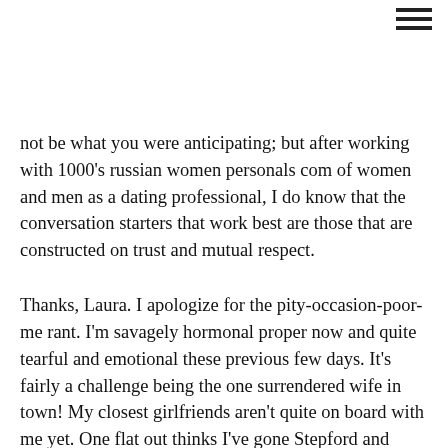≡
not be what you were anticipating; but after working with 1000's russian women personals com of women and men as a dating professional, I do know that the conversation starters that work best are those that are constructed on trust and mutual respect.
Thanks, Laura. I apologize for the pity-occasion-poor-me rant. I'm savagely hormonal proper now and quite tearful and emotional these previous few days. It's fairly a challenge being the one surrendered wife in town! My closest girlfriends aren't quite on board with me yet. One flat out thinks I've gone Stepford and rejects it entirely, and the other is mid-e book as I write this. Actually, I grew to russianwomenpersonals become tired of listening to her fixed complaining about her husband and their funds and her stress. I frequently suggested her